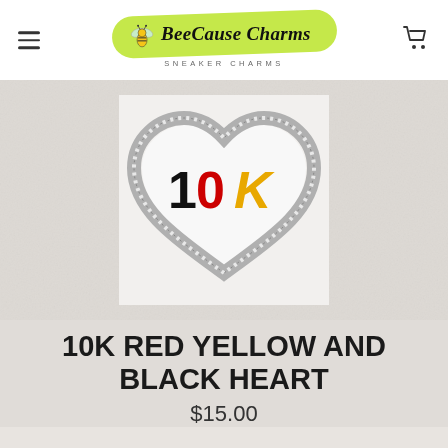BeeCause Charms SNEAKER CHARMS
[Figure (photo): A heart-shaped sneaker charm with a rhinestone/crystal border in silver. Inside the heart is a white background with '10K' text where '1' is black, '0' is red, and 'K' is yellow/gold.]
10K RED YELLOW AND BLACK HEART
$15.00